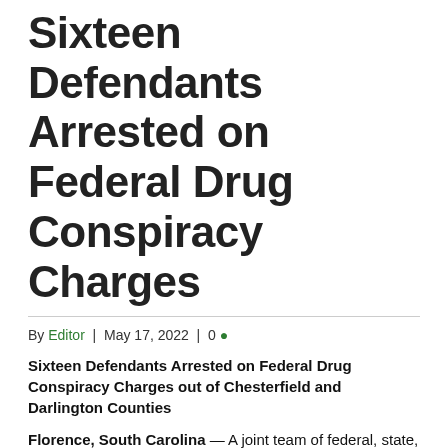Sixteen Defendants Arrested on Federal Drug Conspiracy Charges
By Editor | May 17, 2022 | 0
Sixteen Defendants Arrested on Federal Drug Conspiracy Charges out of Chesterfield and Darlington Counties
Florence, South Carolina — A joint team of federal, state, and local law enforcement officers have arrested 16 individuals who have all been charged in federal court for their roles in a conspiracy to distribute and possess with intent to distribute methamphetamine.
The following defendants have been arrested and arraigned on their respective charges related to their alleged roles in the drug conspiracy, and are charged with 500 grams or more of methamphetamine and face a potential penalty of 10 years to life imprisonment: